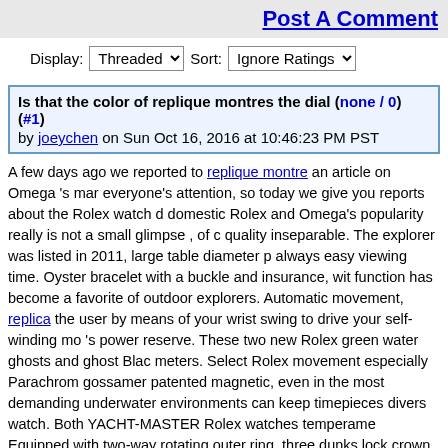Post A Comment
Display: Threaded   Sort: Ignore Ratings
Is that the color of replique montres the dial (none / 0) (#1) by joeychen on Sun Oct 16, 2016 at 10:46:23 PM PST
A few days ago we reported to replique montre an article on Omega 's mar everyone's attention, so today we give you reports about the Rolex watch domestic Rolex and Omega's popularity really is not a small glimpse , of quality inseparable. The explorer was listed in 2011, large table diameter always easy viewing time. Oyster bracelet with a buckle and insurance, w function has become a favorite of outdoor explorers. Automatic movement, replica the user by means of your wrist swing to drive your self-winding 's power reserve. These two new Rolex green water ghosts and ghost Bla meters. Select Rolex movement especially Parachrom gossamer patented magnetic, even in the most demanding underwater environments can keep timepieces divers watch. Both YACHT-MASTER Rolex watches temperame Equipped with two-way rotating outer ring, three dunks lock crown and Oy Language Roughs, still fearless, to meet the stringent requirements of pro difference between these two is that the color of replique montres the dia the color of the watch. The Datejust Rolex watch belonging to the Rolex m because it's only 37 mm table diameter, compared to the other 40 mm an more delicate, with brown leather strap adds one more refined gas. The R traditional design style, coupled with large scale diamond dial and with a l appears culmination of luxury and elegance, and by the COSC certificatio accurate travel it. This is the only one on the table today recommended, id achievements of repliche orologi young people to young people, oh, betwe design is very stylish and capable, scratch-resistant sapphire crystal glas